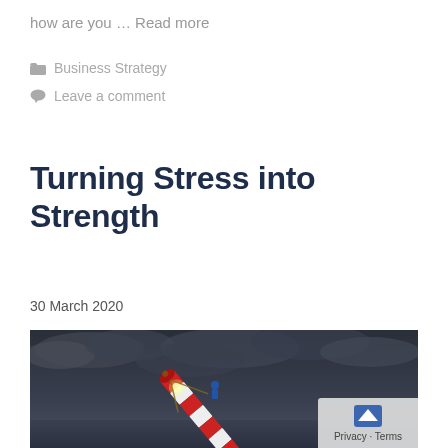how are you … Read more
Business Strategy
Leave a comment
Turning Stress into Strength
30 March 2020
[Figure (photo): A figure climbing or holding onto a red and white striped lighthouse rocket under a dark stormy sky]
Privacy · Terms